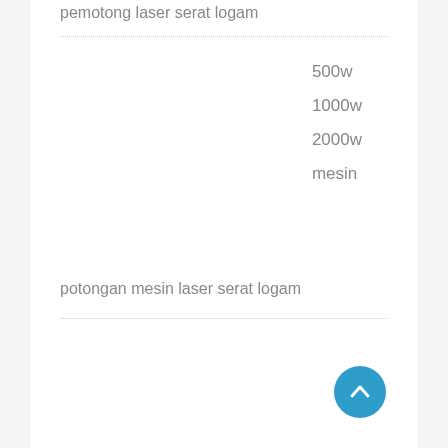pemotong laser serat logam
500w
1000w
2000w
mesin
potongan mesin laser serat logam
[Figure (other): Scroll-to-top button, circular blue button with upward chevron arrow]